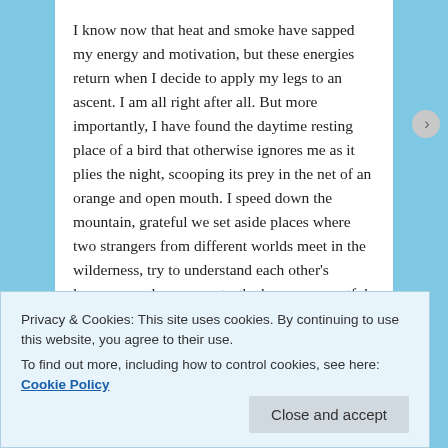I know now that heat and smoke have sapped my energy and motivation, but these energies return when I decide to apply my legs to an ascent. I am all right after all. But more importantly, I have found the daytime resting place of a bird that otherwise ignores me as it plies the night, scooping its prey in the net of an orange and open mouth. I speed down the mountain, grateful we set aside places where two strangers from different worlds meet in the wilderness, try to understand each other's language and movements, the human respectful of the needs and territory of the wild one it has unwittingly approached. We have met each other and caused no harm.
Privacy & Cookies: This site uses cookies. By continuing to use this website, you agree to their use.
To find out more, including how to control cookies, see here: Cookie Policy
Close and accept